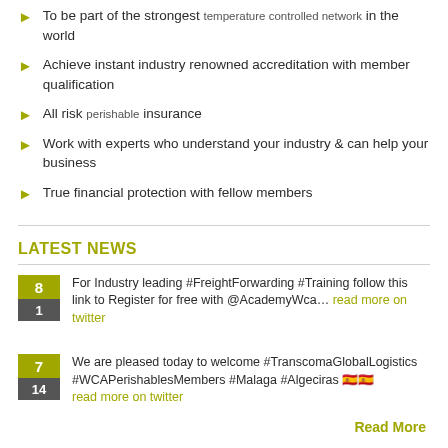To be part of the strongest temperature controlled network in the world
Achieve instant industry renowned accreditation with member qualification
All risk perishable insurance
Work with experts who understand your industry & can help your business
True financial protection with fellow members
LATEST NEWS
For Industry leading #FreightForwarding #Training follow this link to Register for free with @AcademyWca… read more on twitter
We are pleased today to welcome #TranscomaGlobalLogistics #WCAPerishablesMembers #Malaga #Algeciras 🇪🇸 read more on twitter
Read More